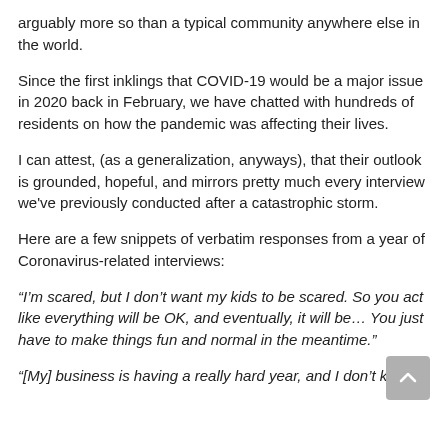arguably more so than a typical community anywhere else in the world.
Since the first inklings that COVID-19 would be a major issue in 2020 back in February, we have chatted with hundreds of residents on how the pandemic was affecting their lives.
I can attest, (as a generalization, anyways), that their outlook is grounded, hopeful, and mirrors pretty much every interview we've previously conducted after a catastrophic storm.
Here are a few snippets of verbatim responses from a year of Coronavirus-related interviews:
“I’m scared, but I don’t want my kids to be scared. So you act like everything will be OK, and eventually, it will be… You just have to make things fun and normal in the meantime.”
“[My] business is having a really hard year, and I don’t know if